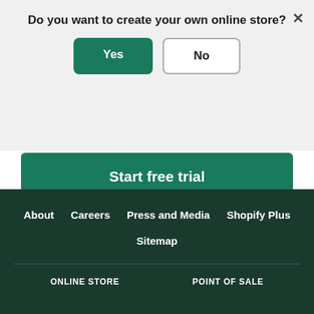Do you want to create your own online store?
Yes
No
Start free trial
Try Shopify free for 14 days, no credit card required. By entering your email, you agree to receive marketing emails from Shopify.
About
Careers
Press and Media
Shopify Plus
Sitemap
ONLINE STORE   POINT OF SALE